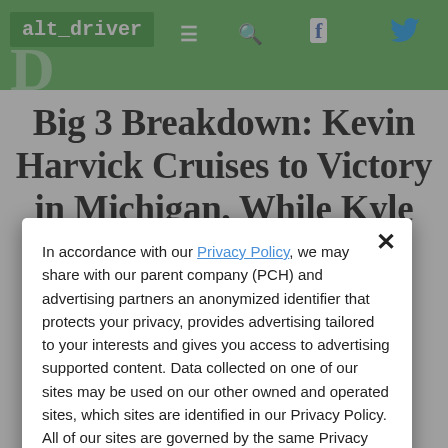alt_driver
Big 3 Breakdown: Kevin Harvick Cruises to Victory in Michigan, While Kyle Busch Still Leads in Standings
In accordance with our Privacy Policy, we may share with our parent company (PCH) and advertising partners an anonymized identifier that protects your privacy, provides advertising tailored to your interests and gives you access to advertising supported content. Data collected on one of our sites may be used on our other owned and operated sites, which sites are identified in our Privacy Policy. All of our sites are governed by the same Privacy Policy, and by proceeding to access this site, you are consenting to that Privacy Policy.